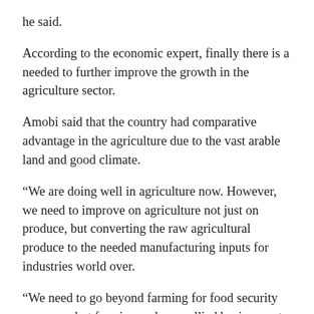he said.
According to the economic expert, finally there is a needed to further improve the growth in the agriculture sector.
Amobi said that the country had comparative advantage in the agriculture due to the vast arable land and good climate.
“We are doing well in agriculture now. However, we need to improve on agriculture not just on produce, but converting the raw agricultural produce to the needed manufacturing inputs for industries world over.
“We need to go beyond farming for food security purposes, but farming and agro-allied businesses to enable us earn foreign exchange for further growth of the economy and more money in the hands of our farmers,” he said.